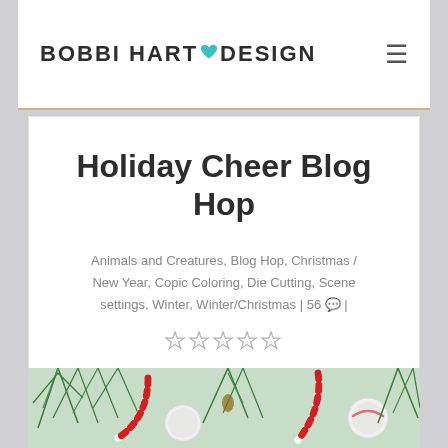BOBBI HART DESIGN
Holiday Cheer Blog Hop
Animals and Creatures, Blog Hop, Christmas / New Year, Copic Coloring, Die Cutting, Scene settings, Winter, Winter/Christmas | 56 💬 |
[Figure (other): Five empty star rating symbols in a row]
[Figure (photo): Christmas photo with pine needles, candy canes (red and white striped), and white felt snowball decorations on a snowy surface]